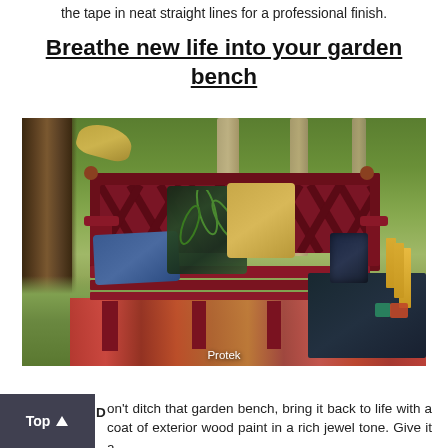the tape in neat straight lines for a professional finish.
Breathe new life into your garden bench
[Figure (photo): A red/maroon painted garden bench with decorative lattice back, decorated with blue, tropical print, and tan cushions, set on a colourful rug on grass with trees in background and a dark side table with candles and lantern.]
Protek
Don't ditch that garden bench, bring it back to life with a coat of exterior wood paint in a rich jewel tone. Give it a